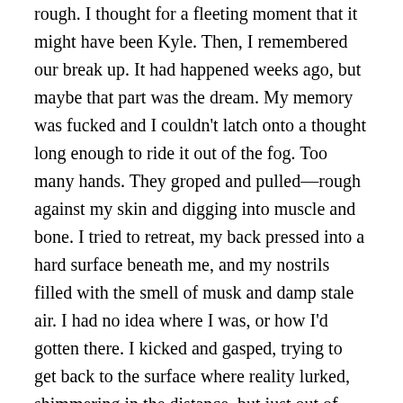rough. I thought for a fleeting moment that it might have been Kyle. Then, I remembered our break up. It had happened weeks ago, but maybe that part was the dream. My memory was fucked and I couldn't latch onto a thought long enough to ride it out of the fog. Too many hands. They groped and pulled—rough against my skin and digging into muscle and bone. I tried to retreat, my back pressed into a hard surface beneath me, and my nostrils filled with the smell of musk and damp stale air. I had no idea where I was, or how I'd gotten there. I kicked and gasped, trying to get back to the surface where reality lurked, shimmering in the distance, but just out of reach, like the sun on the surface of the water during a dive. A hand latched onto my hair and held my head back. My eyelids were finally